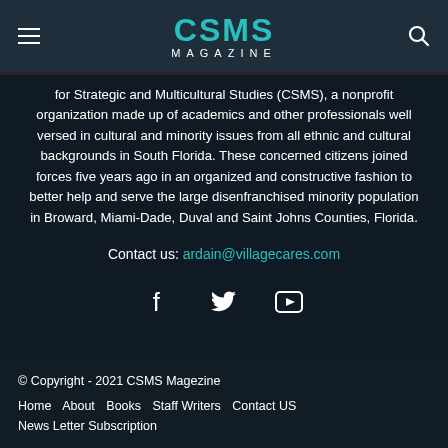CSMS MAGAZINE
for Strategic and Multicultural Studies (CSMS), a nonprofit organization made up of academics and other professionals well versed in cultural and minority issues from all ethnic and cultural backgrounds in South Florida. These concerned citizens joined forces five years ago in an organized and constructive fashion to better help and serve the large disenfranchised minority population in Broward, Miami-Dade, Duval and Saint Johns Counties, Florida.
Contact us: ardain@villagecares.com
[Figure (other): Social media icons: Facebook (f), Twitter (bird), YouTube (play button)]
© Copyright - 2021 CSMS Magezine
Home   About   Books   Staff Writers   Contact US
News Letter Subscription